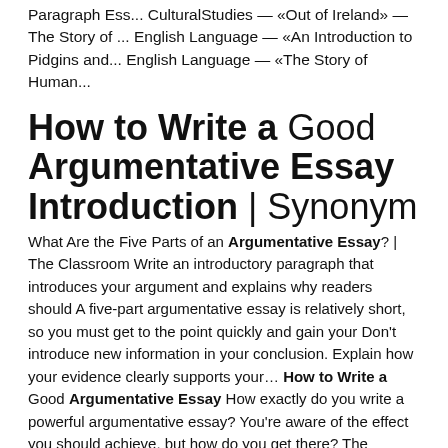Paragraph Ess... CulturalStudies — «Out of Ireland» — The Story of ... English Language — «An Introduction to Pidgins and... English Language — «The Story of Human...
How to Write a Good Argumentative Essay Introduction | Synonym
What Are the Five Parts of an Argumentative Essay? | The Classroom Write an introductory paragraph that introduces your argument and explains why readers should A five-part argumentative essay is relatively short, so you must get to the point quickly and gain your Don't introduce new information in your conclusion. Explain how your evidence clearly supports your… How to Write a Good Argumentative Essay How exactly do you write a powerful argumentative essay? You're aware of the effect you should achieve, but how do you get there? The introduction is the part that hooks the reader. Some professors read only this part before deciding if they